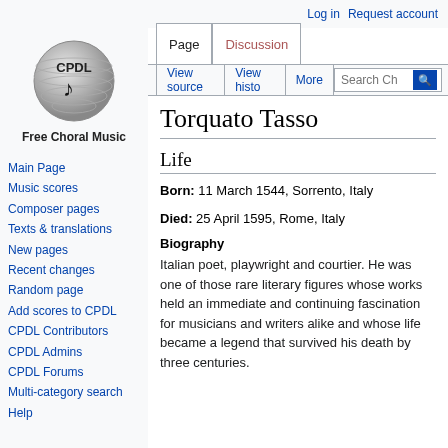Log in   Request account
[Figure (logo): CPDL globe logo with musical note]
Free Choral Music
Main Page
Music scores
Composer pages
Texts & translations
New pages
Recent changes
Random page
Add scores to CPDL
CPDL Contributors
CPDL Admins
CPDL Forums
Multi-category search
Help
Torquato Tasso
Life
Born: 11 March 1544, Sorrento, Italy
Died: 25 April 1595, Rome, Italy
Biography
Italian poet, playwright and courtier. He was one of those rare literary figures whose works held an immediate and continuing fascination for musicians and writers alike and whose life became a legend that survived his death by three centuries.